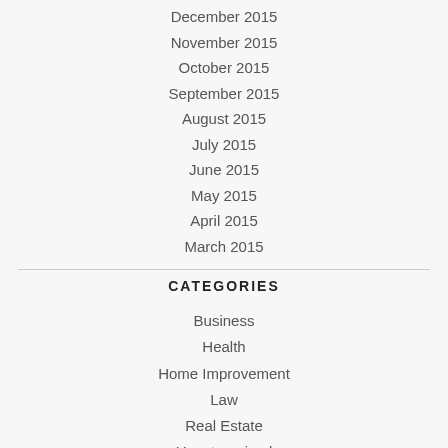December 2015
November 2015
October 2015
September 2015
August 2015
July 2015
June 2015
May 2015
April 2015
March 2015
CATEGORIES
Business
Health
Home Improvement
Law
Real Estate
Uncategorized